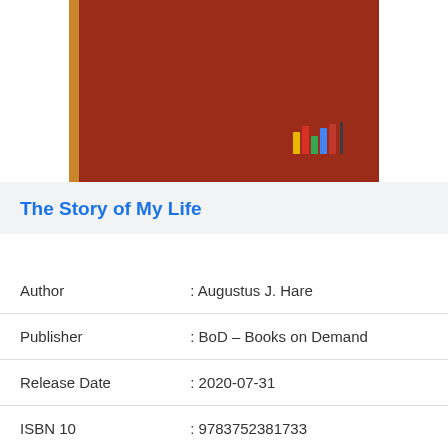[Figure (illustration): Book cover with dark red/maroon background and a golden spine strip on the left. An 'outlook' logo with colorful vertical bars appears in the lower right of the cover.]
The Story of My Life
| Author | : Augustus J. Hare |
| Publisher | : BoD – Books on Demand |
| Release Date | : 2020-07-31 |
| ISBN 10 | : 9783752381733 |
| Pages | : 724 pages |